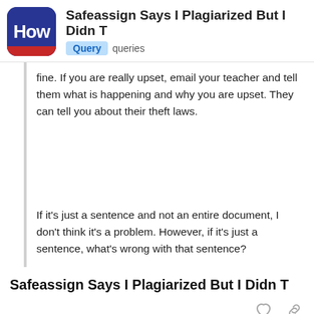Safeassign Says I Plagiarized But I Didn T — Query queries
fine. If you are really upset, email your teacher and tell them what is happening and why you are upset. They can tell you about their theft laws.
If it's just a sentence and not an entire document, I don't think it's a problem. However, if it's just a sentence, what's wrong with that sentence?
Safeassign Says I Plagiarized But I Didn T
1 MONTH LATER   2 / 5